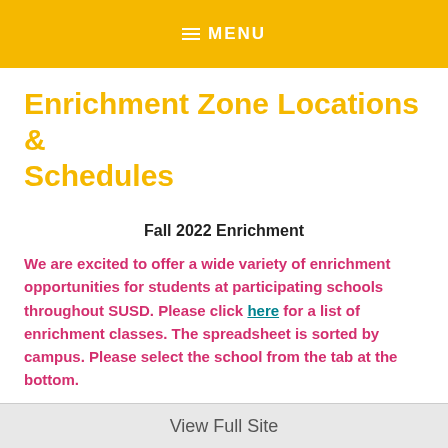≡ MENU
Enrichment Zone Locations & Schedules
Fall 2022 Enrichment
We are excited to offer a wide variety of enrichment opportunities for students at participating schools throughout SUSD. Please click here for a list of enrichment classes. The spreadsheet is sorted by campus. Please select the school from the tab at the bottom.
View Full Site